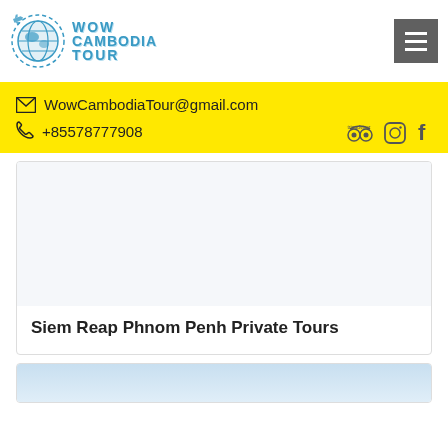[Figure (logo): Wow Cambodia Tour logo with globe icon and stylized text]
WowCambodiaTour@gmail.com
+85578777908
Siem Reap Phnom Penh Private Tours
[Figure (photo): Partial bottom card with blue-sky photo]